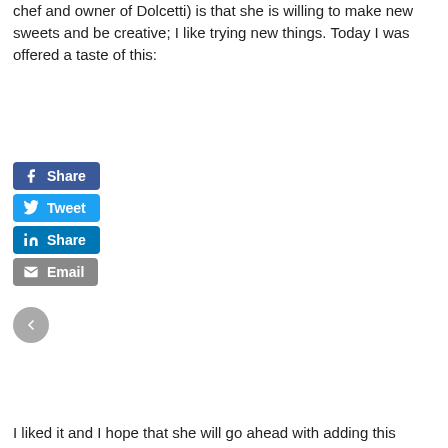chef and owner of Dolcetti) is that she is willing to make new sweets and be creative; I like trying new things. Today I was offered a taste of this:
[Figure (other): Social media share buttons: Facebook Share, Tweet, LinkedIn Share, Email]
I liked it and I hope that she will go ahead with adding this